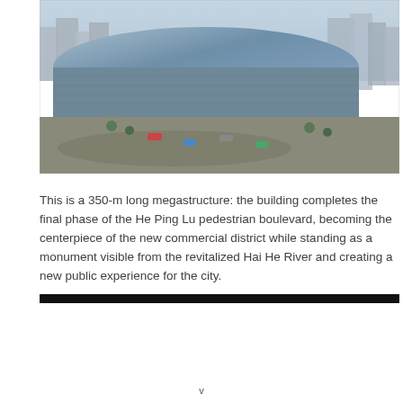[Figure (photo): Aerial view of a large glass-clad megastructure building with a curved roof, surrounded by roads with traffic, urban cityscape with high-rise buildings in the background.]
This is a 350-m long megastructure: the building completes the final phase of the He Ping Lu pedestrian boulevard, becoming the centerpiece of the new commercial district while standing as a monument visible from the revitalized Hai He River and creating a new public experience for the city.